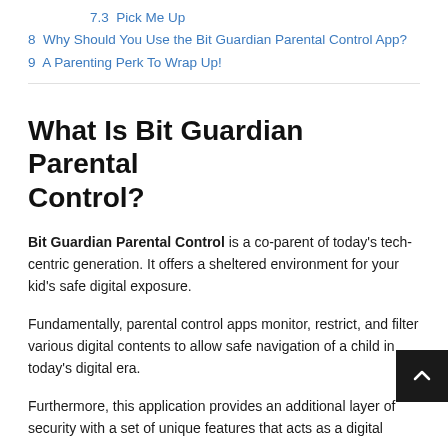7.3  Pick Me Up
8  Why Should You Use the Bit Guardian Parental Control App?
9  A Parenting Perk To Wrap Up!
What Is Bit Guardian Parental Control?
Bit Guardian Parental Control is a co-parent of today’s tech-centric generation. It offers a sheltered environment for your kid’s safe digital exposure.
Fundamentally, parental control apps monitor, restrict, and filter various digital contents to allow safe navigation of a child in today’s digital era.
Furthermore, this application provides an additional layer of security with a set of unique features that acts as a digital